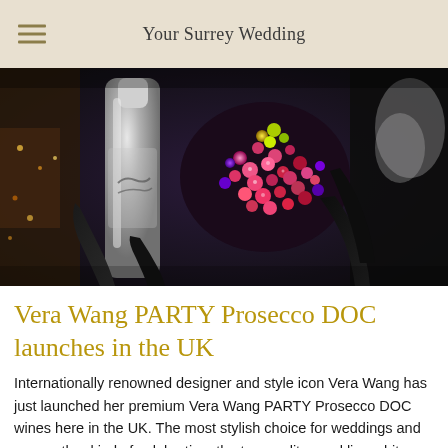Your Surrey Wedding
[Figure (photo): Close-up photo of a silver Vera Wang Party Prosecco bottle alongside a heavily jewelled/crystal-encrusted clutch bag, with dark gloved hands and sparkly fabric in the background]
Vera Wang PARTY Prosecco DOC launches in the UK
Internationally renowned designer and style icon Vera Wang has just launched her premium Vera Wang PARTY Prosecco DOC wines here in the UK. The most stylish choice for weddings and every other kind of celebration, the top-quality sparkling white and rosé wines come in stunning matt silver bottles as striking